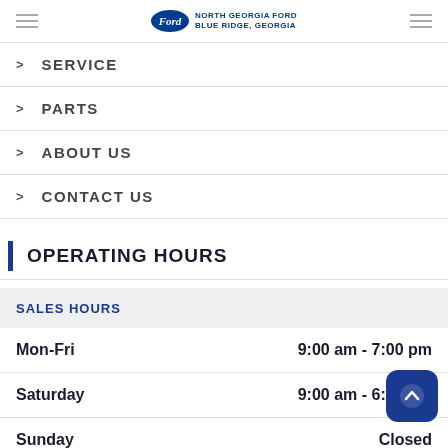North Georgia Ford Blue Ridge, Georgia
> SERVICE
> PARTS
> ABOUT US
> CONTACT US
OPERATING HOURS
SALES HOURS
| Day | Hours |
| --- | --- |
| Mon-Fri | 9:00 am - 7:00 pm |
| Saturday | 9:00 am - 6:00 pm |
| Sunday | Closed |